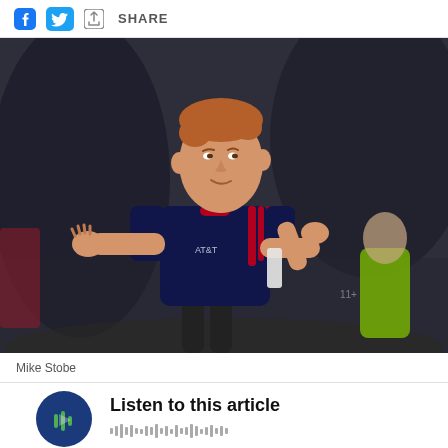SHARE
[Figure (photo): A soccer player wearing a navy blue and red jersey with AT&T logo, clapping his hands on a soccer field. A referee in yellow is visible in the background.]
Mike Stobe
Listen to this article